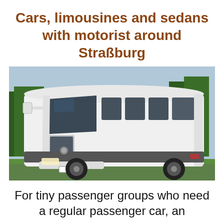Cars, limousines and sedans with motorist around Straßburg
[Figure (photo): A large white coach/tour bus parked outdoors with trees in the background and green grass in the foreground.]
For tiny passenger groups who need a regular passenger car, an